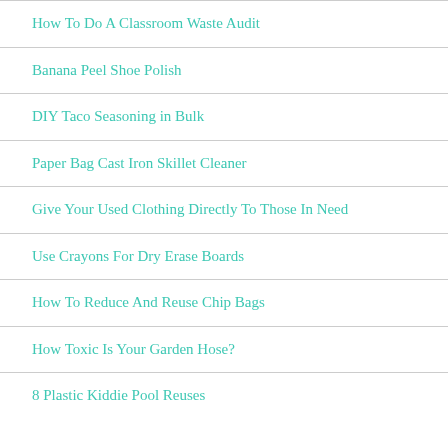How To Do A Classroom Waste Audit
Banana Peel Shoe Polish
DIY Taco Seasoning in Bulk
Paper Bag Cast Iron Skillet Cleaner
Give Your Used Clothing Directly To Those In Need
Use Crayons For Dry Erase Boards
How To Reduce And Reuse Chip Bags
How Toxic Is Your Garden Hose?
8 Plastic Kiddie Pool Reuses